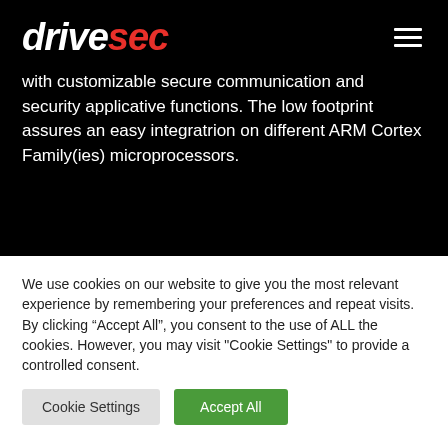drivesec
with customizable secure communication and security applicative functions. The low footprint assures an easy integratrion on different ARM Cortex Family(ies) microprocessors.
We use cookies on our website to give you the most relevant experience by remembering your preferences and repeat visits. By clicking “Accept All”, you consent to the use of ALL the cookies. However, you may visit "Cookie Settings" to provide a controlled consent.
Cookie Settings | Accept All